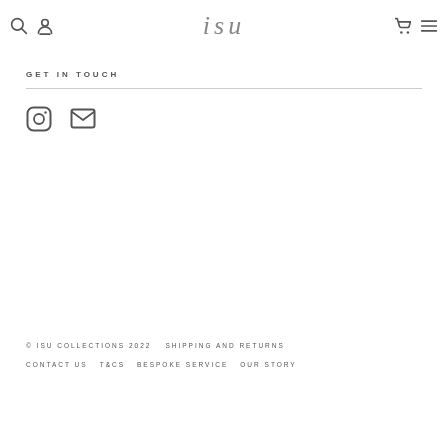ISU (logo with search, account, cart, menu icons)
GET IN TOUCH
[Figure (illustration): Instagram icon (rounded square with circle) and email/envelope icon]
© ISU COLLECTIONS 2022   SHIPPING AND RETURNS   CONTACT US   T&CS   BESPOKE SERVICE   OUR STORY